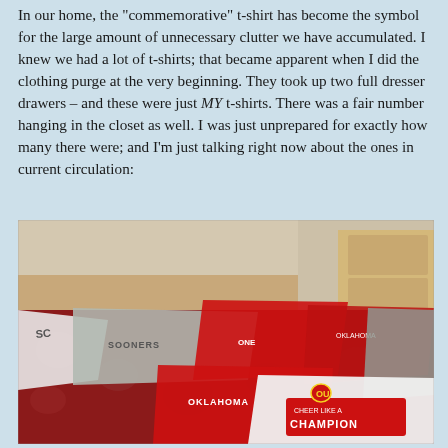In our home, the "commemorative" t-shirt has become the symbol for the large amount of unnecessary clutter we have accumulated.  I knew we had a lot of t-shirts; that became apparent when I did the clothing purge at the very beginning.  They took up two full dresser drawers – and these were just MY t-shirts.  There was a fair number hanging in the closet as well.  I was just unprepared for exactly how many there were; and I'm just talking right now about the ones in current circulation:
[Figure (photo): A pile of red and grey t-shirts spread across a bed with floral bedding. Several shirts display 'SOONERS', 'OKLAHOMA', and 'CHAMPION' text. A white shirt in the foreground reads 'CHEER LIKE A CHAMPION' with a logo.]